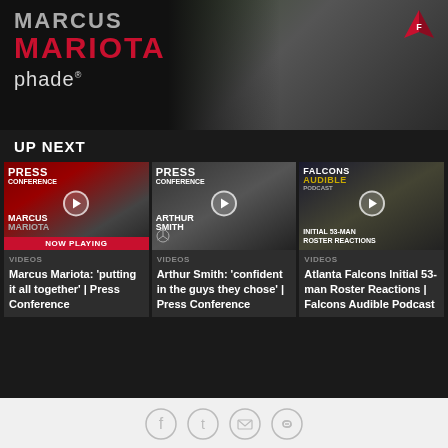[Figure (photo): Marcus Mariota / Phade banner with player image and Atlanta Falcons logo]
UP NEXT
[Figure (screenshot): Video thumbnail: Marcus Mariota Press Conference - NOW PLAYING]
VIDEOS
Marcus Mariota: 'putting it all together' | Press Conference
[Figure (screenshot): Video thumbnail: Arthur Smith Press Conference]
VIDEOS
Arthur Smith: 'confident in the guys they chose' | Press Conference
[Figure (screenshot): Video thumbnail: Falcons Audible - Initial 53-Man Roster Reactions]
VIDEOS
Atlanta Falcons Initial 53-man Roster Reactions | Falcons Audible Podcast
Social share icons: Facebook, Twitter, Email, Link